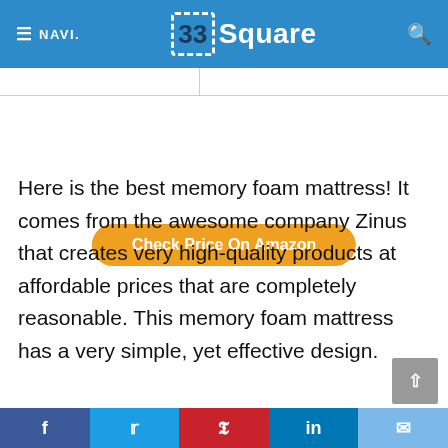≡ NAVI.  33 Square  🔍
[Figure (other): Orange rounded button labeled 'Check Price On Amazon']
Here is the best memory foam mattress! It comes from the awesome company Zinus that creates very high-quality products at affordable prices that are completely reasonable. This memory foam mattress has a very simple, yet effective design.
f  t  P  in  ✉